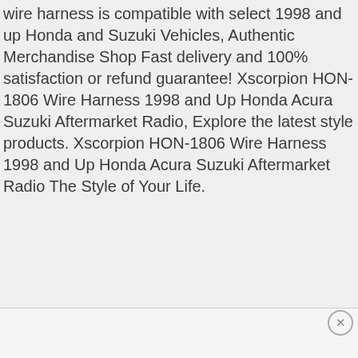wire harness is compatible with select 1998 and up Honda and Suzuki Vehicles, Authentic Merchandise Shop Fast delivery and 100% satisfaction or refund guarantee! Xscorpion HON-1806 Wire Harness 1998 and Up Honda Acura Suzuki Aftermarket Radio, Explore the latest style products. Xscorpion HON-1806 Wire Harness 1998 and Up Honda Acura Suzuki Aftermarket Radio The Style of Your Life.